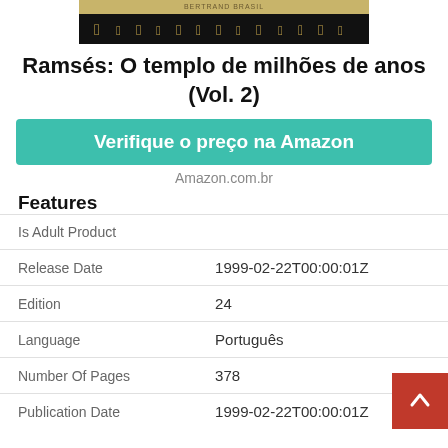[Figure (photo): Book cover image showing Egyptian hieroglyphs strip at top]
Ramsés: O templo de milhões de anos (Vol. 2)
Verifique o preço na Amazon
Amazon.com.br
Features
|  |  |
| --- | --- |
| Is Adult Product |  |
| Release Date | 1999-02-22T00:00:01Z |
| Edition | 24 |
| Language | Português |
| Number Of Pages | 378 |
| Publication Date | 1999-02-22T00:00:01Z |